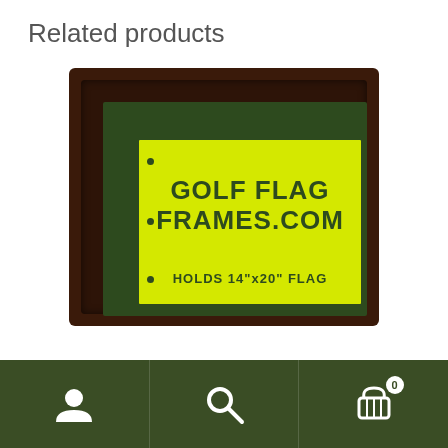Related products
[Figure (photo): A framed golf flag display case with dark wood frame, green mat, and yellow golf flag showing 'GOLF FLAG FRAMES.COM' and 'HOLDS 14"x20" FLAG']
Navigation bar with account, search, and cart (0) icons